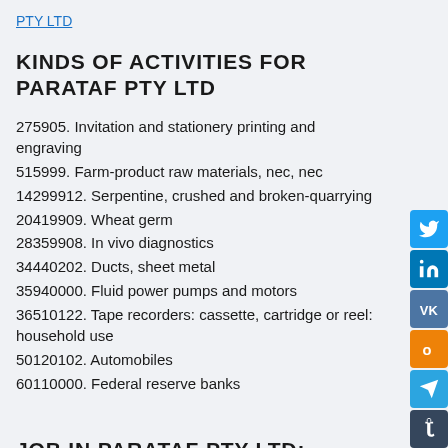PTY LTD
KINDS OF ACTIVITIES FOR PARATAF PTY LTD
275905. Invitation and stationery printing and engraving
515999. Farm-product raw materials, nec, nec
14299912. Serpentine, crushed and broken-quarrying
20419909. Wheat germ
28359908. In vivo diagnostics
34440202. Ducts, sheet metal
35940000. Fluid power pumps and motors
36510122. Tape recorders: cassette, cartridge or reel: household use
50120102. Automobiles
60110000. Federal reserve banks
JOB IN PARATAF PTY LTD: OPEN VACANCIES, WORK, CAREER, TRAINING, PRACTICE